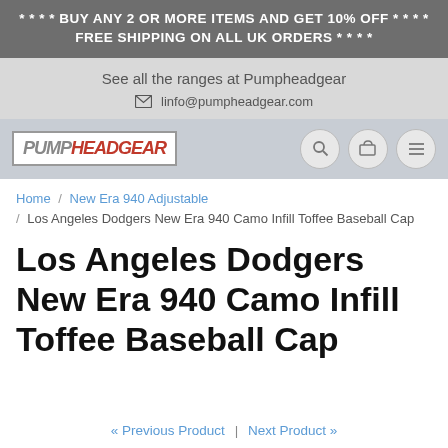* * * * BUY ANY 2 OR MORE ITEMS AND GET 10% OFF * * * * FREE SHIPPING ON ALL UK ORDERS * * * *
See all the ranges at Pumpheadgear
linfo@pumpheadgear.com
[Figure (logo): PumpHeadGear logo in a bordered box, with navigation icons (search, cart, menu)]
Home / New Era 940 Adjustable / Los Angeles Dodgers New Era 940 Camo Infill Toffee Baseball Cap
Los Angeles Dodgers New Era 940 Camo Infill Toffee Baseball Cap
« Previous Product | Next Product »